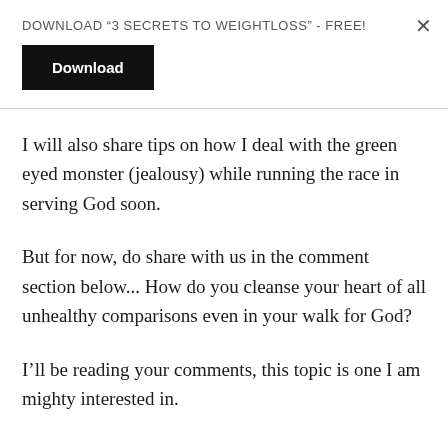DOWNLOAD “3 SECRETS TO WEIGHTLOSS” - FREE!
Download
I will also share tips on how I deal with the green eyed monster (jealousy) while running the race in serving God soon.
But for now, do share with us in the comment section below... How do you cleanse your heart of all unhealthy comparisons even in your walk for God?
I’ll be reading your comments, this topic is one I am mighty interested in.